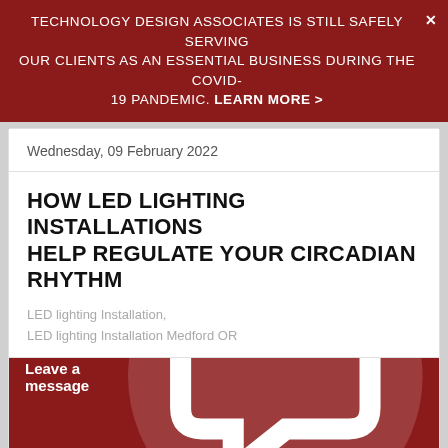TECHNOLOGY DESIGN ASSOCIATES IS STILL SAFELY SERVING OUR CLIENTS AS AN ESSENTIAL BUSINESS DURING THE COVID-19 PANDEMIC. LEARN MORE >
Wednesday, 09 February 2022
HOW LED LIGHTING INSTALLATIONS HELP REGULATE YOUR CIRCADIAN RHYTHM
LED lighting Installation,
LED lighting Installation Medford OR
[Figure (photo): Two people sitting in a dimly lit interior room with warm lamp light overhead, dark wooden surroundings]
Leave a message